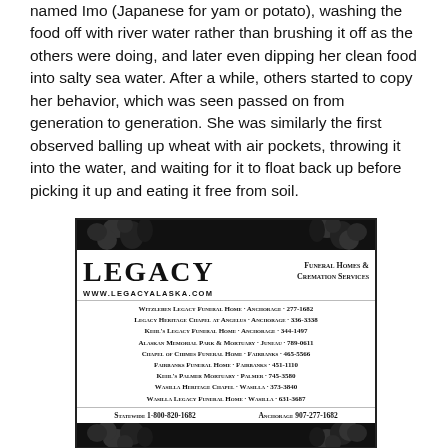named Imo (Japanese for yam or potato), washing the food off with river water rather than brushing it off as the others were doing, and later even dipping her clean food into salty sea water. After a while, others started to copy her behavior, which was seen passed on from generation to generation. She was similarly the first observed balling up wheat with air pockets, throwing it into the water, and waiting for it to float back up before picking it up and eating it free from soil.
[Figure (other): Advertisement for Legacy Funeral Homes & Cremation Services with black floral border decorations. Lists multiple locations: Witzleben Legacy Funeral Home · Anchorage · 277-1682, Legacy Heritage Chapel at Angelus · Anchorage · 336-3338, Kehl's Legacy Funeral Home · Anchorage · 344-1497, Alaskan Memorial Park & Mortuary · Juneau · 789-0611, Chapel of Chimes Funeral Home · Fairbanks · 465-5566, Fairbanks Funeral Home · Fairbanks · 451-1110, Kehl's Palmer Mortuary · Palmer · 745-3580, Wasilla Heritage Chapel · Wasilla · 373-3840, Wasilla Legacy Funeral Home · Wasilla · 631-3687. Statewide 1-800-820-1682, Anchorage 907-277-1682. Website: www.legacyalaska.com]